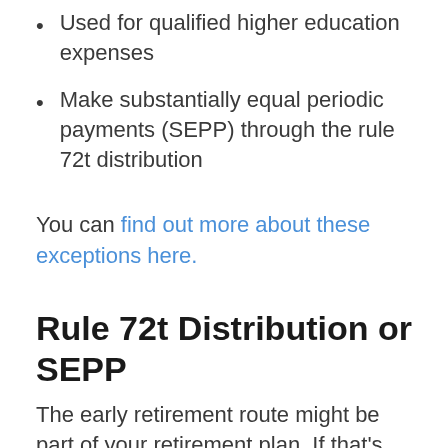Used for qualified higher education expenses
Make substantially equal periodic payments (SEPP) through the rule 72t distribution
You can find out more about these exceptions here.
Rule 72t Distribution or SEPP
The early retirement route might be part of your retirement plan. If that's the case, a SEPP or substantially equal periodic payments are one work around to getting your money